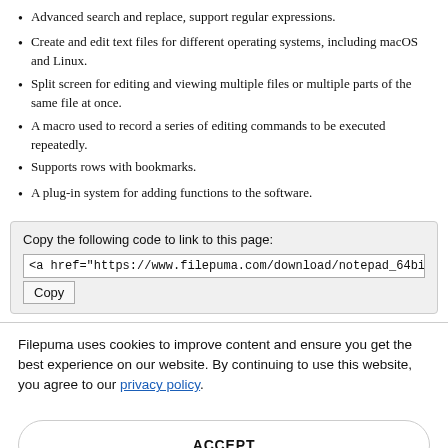Advanced search and replace, support regular expressions.
Create and edit text files for different operating systems, including macOS and Linux.
Split screen for editing and viewing multiple files or multiple parts of the same file at once.
A macro used to record a series of editing commands to be executed repeatedly.
Supports rows with bookmarks.
A plug-in system for adding functions to the software.
Copy the following code to link to this page:
<a href="https://www.filepuma.com/download/notepad_64bit_8.1.2-29:
Copy
Filepuma uses cookies to improve content and ensure you get the best experience on our website. By continuing to use this website, you agree to our privacy policy.
ACCEPT